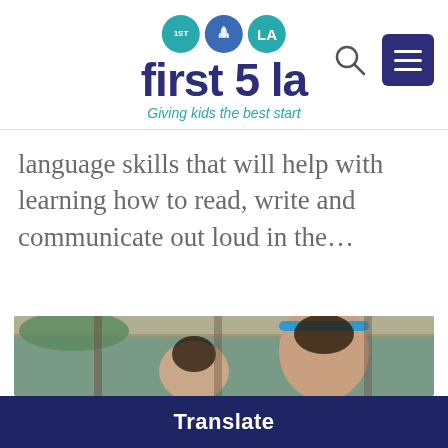first 5 la — Giving kids the best start
language skills that will help with learning how to read, write and communicate out loud in the…
[Figure (photo): Photo of a woman with a blue headband bending over a child, taken outdoors under a covered structure]
Translate